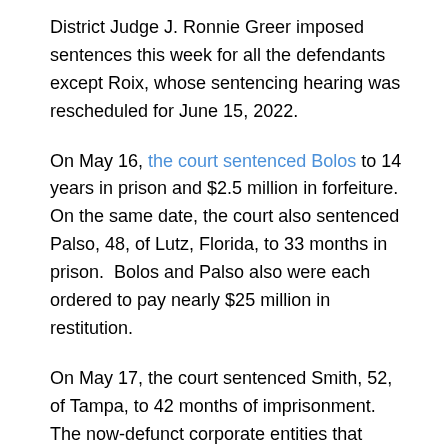District Judge J. Ronnie Greer imposed sentences this week for all the defendants except Roix, whose sentencing hearing was rescheduled for June 15, 2022.
On May 16, the court sentenced Bolos to 14 years in prison and $2.5 million in forfeiture. On the same date, the court also sentenced Palso, 48, of Lutz, Florida, to 33 months in prison.  Bolos and Palso also were each ordered to pay nearly $25 million in restitution.
On May 17, the court sentenced Smith, 52, of Tampa, to 42 months of imprisonment.  The now-defunct corporate entities that Smith created, Alpha Omega Pharmacy, Germaine Pharmacy, Zoetic Pharmacy, ULD Wholesale LLC, and Tanith Enterprises, all were sentenced to pay nearly $25 million in restitution.  The court also sentenced Taneja, 47, of Tampa, to 10 months of imprisonment and a $10,000 fine.